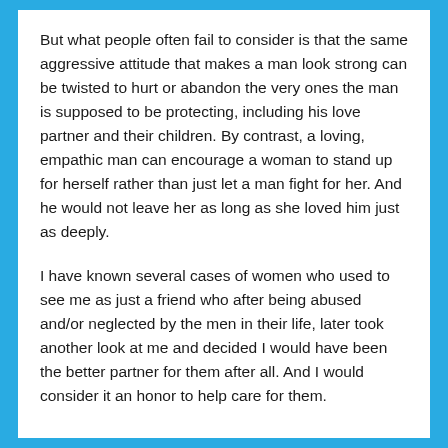But what people often fail to consider is that the same aggressive attitude that makes a man look strong can be twisted to hurt or abandon the very ones the man is supposed to be protecting, including his love partner and their children. By contrast, a loving, empathic man can encourage a woman to stand up for herself rather than just let a man fight for her. And he would not leave her as long as she loved him just as deeply.
I have known several cases of women who used to see me as just a friend who after being abused and/or neglected by the men in their life, later took another look at me and decided I would have been the better partner for them after all. And I would consider it an honor to help care for them.